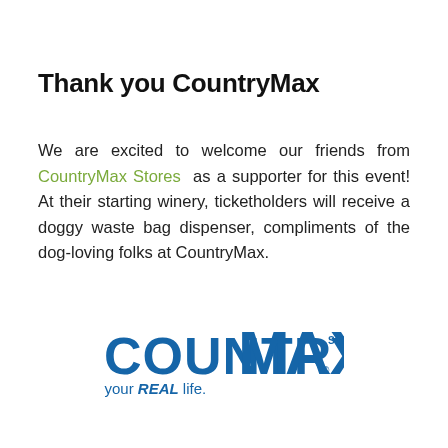Thank you CountryMax
We are excited to welcome our friends from CountryMax Stores as a supporter for this event! At their starting winery, ticketholders will receive a doggy waste bag dispenser, compliments of the dog-loving folks at CountryMax.
[Figure (logo): CountryMax Stores logo in blue with tagline 'For your REAL life.']